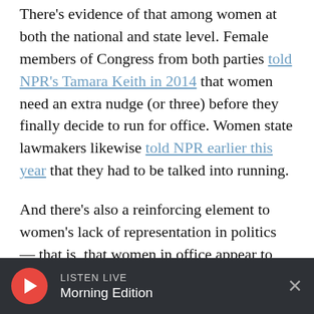There's evidence of that among women at both the national and state level. Female members of Congress from both parties told NPR's Tamara Keith in 2014 that women need an extra nudge (or three) before they finally decide to run for office. Women state lawmakers likewise told NPR earlier this year that they had to be talked into running.
And there's also a reinforcing element to women's lack of representation in politics — that is, that women in office appear to help attract more women to office. An analysis from Obama's 2012 Analytics Director Amelia Showalter
LISTEN LIVE | Morning Edition